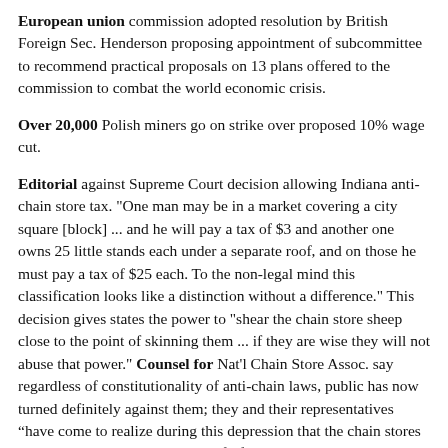European union commission adopted resolution by British Foreign Sec. Henderson proposing appointment of subcommittee to recommend practical proposals on 13 plans offered to the commission to combat the world economic crisis.
Over 20,000 Polish miners go on strike over proposed 10% wage cut.
Editorial against Supreme Court decision allowing Indiana anti-chain store tax. "One man may be in a market covering a city square [block] ... and he will pay a tax of $3 and another one owns 25 little stands each under a separate roof, and on those he must pay a tax of $25 each. To the non-legal mind this classification looks like a distinction without a difference." This decision gives states the power to "shear the chain store sheep close to the point of skinning them ... if they are wise they will not abuse that power." Counsel for Nat'l Chain Store Assoc. say regardless of constitutionality of anti-chain laws, public has now turned definitely against them; they and their representatives “have come to realize during this depression that the chain stores are providing ... the necessities of life at the lowest possible prices”; high tax on chain stores is indirect tax on people who can least afford it; only 6